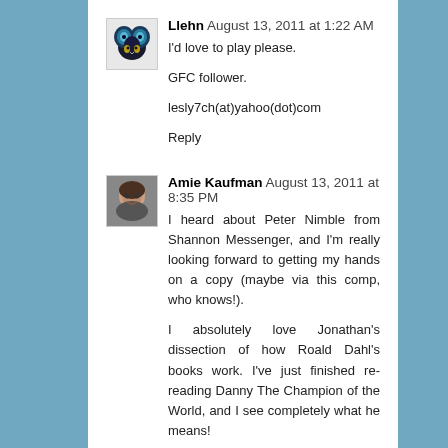Llehn  August 13, 2011 at 1:22 AM
I'd love to play please.

GFC follower.

lesly7ch(at)yahoo(dot)com

Reply
Amie Kaufman  August 13, 2011 at 8:35 PM
I heard about Peter Nimble from Shannon Messenger, and I'm really looking forward to getting my hands on a copy (maybe via this comp, who knows!).

I absolutely love Jonathan's dissection of how Roald Dahl's books work. I've just finished re-reading Danny The Champion of the World, and I see completely what he means!